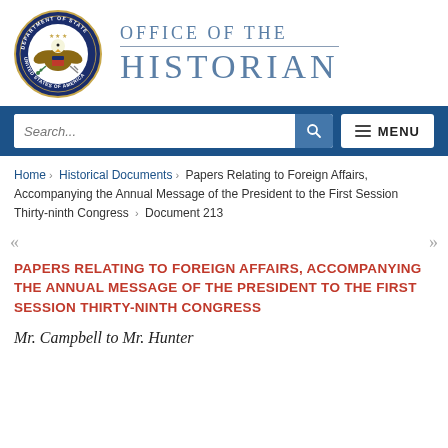[Figure (logo): US Department of State seal and Office of the Historian wordmark]
[Figure (screenshot): Search bar and menu navigation bar with blue background]
Home › Historical Documents › Papers Relating to Foreign Affairs, Accompanying the Annual Message of the President to the First Session Thirty-ninth Congress › Document 213
PAPERS RELATING TO FOREIGN AFFAIRS, ACCOMPANYING THE ANNUAL MESSAGE OF THE PRESIDENT TO THE FIRST SESSION THIRTY-NINTH CONGRESS
Mr. Campbell to Mr. Hunter